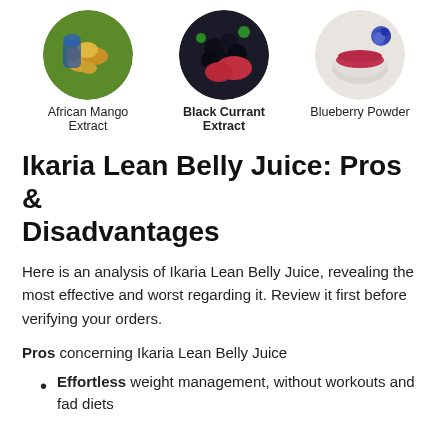[Figure (photo): Three circular photos side by side: African Mango Extract (person holding mangoes), Black Currant Extract (black currants with red powder), Blueberry Powder (white bowl with red powder and blueberries)]
African Mango Extract   Black Currant Extract   Blueberry Powder
Ikaria Lean Belly Juice: Pros & Disadvantages
Here is an analysis of Ikaria Lean Belly Juice, revealing the most effective and worst regarding it. Review it first before verifying your orders.
Pros concerning Ikaria Lean Belly Juice
Effortless weight management, without workouts and fad diets